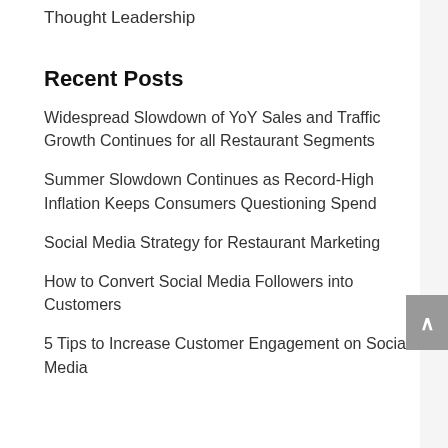Thought Leadership
Recent Posts
Widespread Slowdown of YoY Sales and Traffic Growth Continues for all Restaurant Segments
Summer Slowdown Continues as Record-High Inflation Keeps Consumers Questioning Spend
Social Media Strategy for Restaurant Marketing
How to Convert Social Media Followers into Customers
5 Tips to Increase Customer Engagement on Social Media